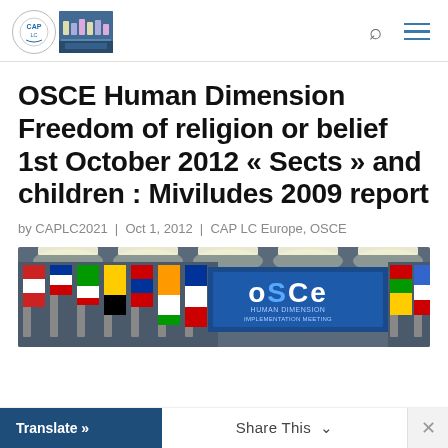[Figure (logo): CAP LC Europe organization logo with circle emblem and photo of a meeting]
OSCE Human Dimension Freedom of religion or belief 1st October 2012 « Sects » and children : Miviludes 2009 report
by CAPLC2021 | Oct 1, 2012 | CAP LC Europe, OSCE
[Figure (photo): OSCE Human Dimension Implementation Meeting room with flags and OSCE banner]